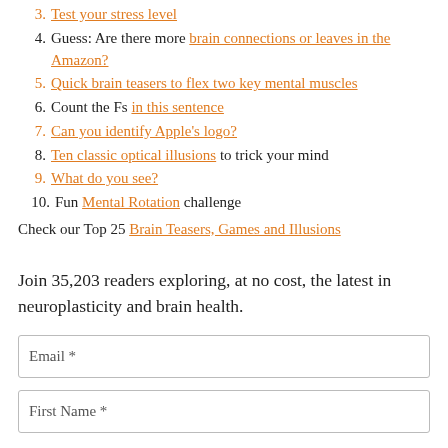3. Test your stress level
4. Guess: Are there more brain connections or leaves in the Amazon?
5. Quick brain teasers to flex two key mental muscles
6. Count the Fs in this sentence
7. Can you identify Apple’s logo?
8. Ten classic optical illusions to trick your mind
9. What do you see?
10. Fun Mental Rotation challenge
Check our Top 25 Brain Teasers, Games and Illusions
Join 35,203 readers exploring, at no cost, the latest in neuroplasticity and brain health.
Email *
First Name *